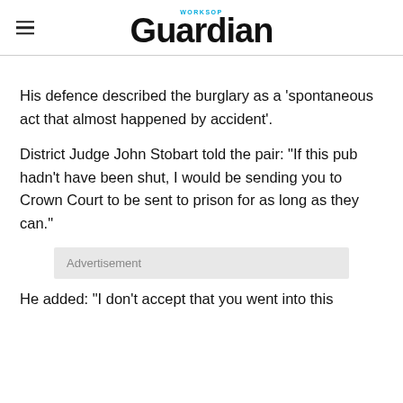Worksop Guardian
His defence described the burglary as a ‘spontaneous act that almost happened by accident’.
District Judge John Stobart told the pair: “If this pub hadn’t have been shut, I would be sending you to Crown Court to be sent to prison for as long as they can.”
Advertisement
He added: “I don’t accept that you went into this